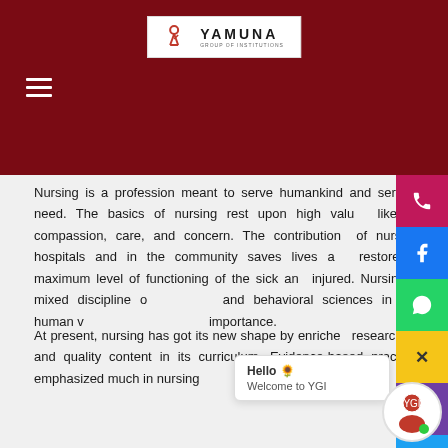[Figure (logo): Yamuna Group of Institutions logo in white box on dark red header]
Nursing is a profession meant to serve humankind and serve the need. The basics of nursing rest upon high values like love, compassion, care, and concern. The contribution of nurses in hospitals and in the community saves lives and restores the maximum level of functioning of the sick and injured. Nursing is a mixed discipline of biological and behavioral sciences in which human values are given more importance.
At present, nursing has got its new shape by enriched research work and quality content in its curriculum. Evidence-based practice is emphasized much in nursing...